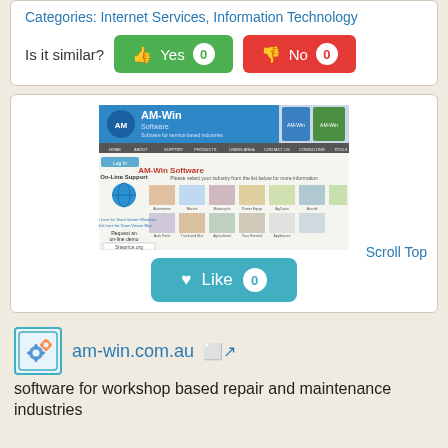Categories: Internet Services, Information Technology
Is it similar? Yes 0 No 0
[Figure (screenshot): Screenshot of am-win.com.au website showing AM-Win Software homepage with navigation menu, On-Line Support section, industry category images, and Siteprice.org watermark]
Scroll Top
Like 0
am-win.com.au
software for workshop based repair and maintenance industries